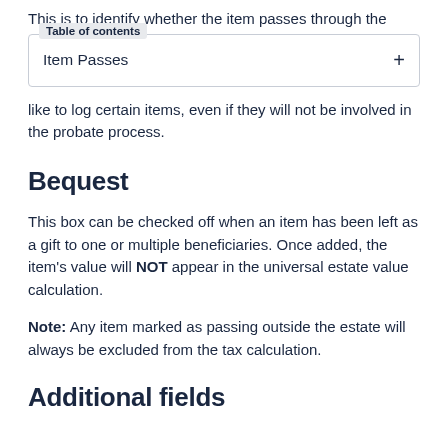This is to identify whether the item passes through the
Item Passes
like to log certain items, even if they will not be involved in the probate process.
Bequest
This box can be checked off when an item has been left as a gift to one or multiple beneficiaries. Once added, the item's value will NOT appear in the universal estate value calculation.
Note: Any item marked as passing outside the estate will always be excluded from the tax calculation.
Additional fields